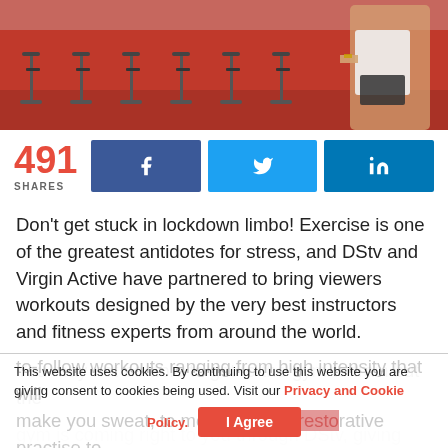[Figure (photo): Photo of a gym with red flooring and exercise bikes in rows, person visible in the foreground]
491 SHARES
[Figure (infographic): Social share buttons: Facebook, Twitter, LinkedIn]
Don't get stuck in lockdown limbo! Exercise is one of the greatest antidotes for stress, and DStv and Virgin Active have partnered to bring viewers workouts designed by the very best instructors and fitness experts from around the world.
You may not be able to get to the gym to train but the gym is coming right to you through DStv, giving you easy-to-follow workouts ranging from high intensity that will make you sweat, to more mindful, restorative practise to feed your soul.
This website uses cookies. By continuing to use this website you are giving consent to cookies being used. Visit our Privacy and Cookie Policy. I Agree